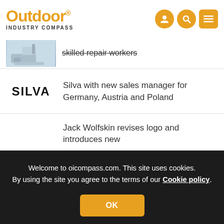Outdoor Industry Compass
skilled repair workers
Silva with new sales manager for Germany, Austria and Poland
Jack Wolfskin revises logo and introduces new
Welcome to oicompass.com. This site uses cookies. By using the site you agree to the terms of our Cookie policy.